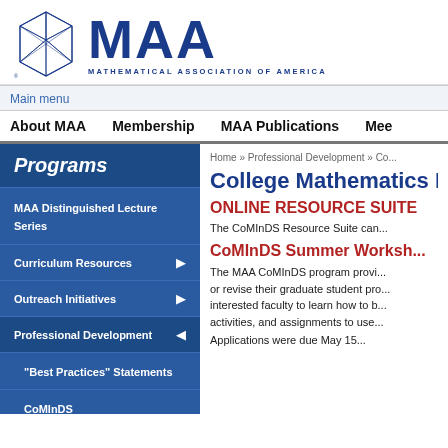[Figure (logo): MAA Mathematical Association of America logo with geometric polyhedron icon and blue MAA text]
Main menu
About MAA   Membership   MAA Publications   Mee...
Programs
MAA Distinguished Lecture Series
Curriculum Resources
Outreach Initiatives
Professional Development
"Best Practices" Statements
CoMInDS
Home » Professional Development » Co...
College Mathematics I...
ONLINE RESOURCE SUITE
The CoMInDS Resource Suite can...
CoMInDS Summer Worksh...
The MAA CoMInDS program provi... or revise their graduate student pro... interested faculty to learn how to b... activities, and assignments to use...
Applications were due May 15...